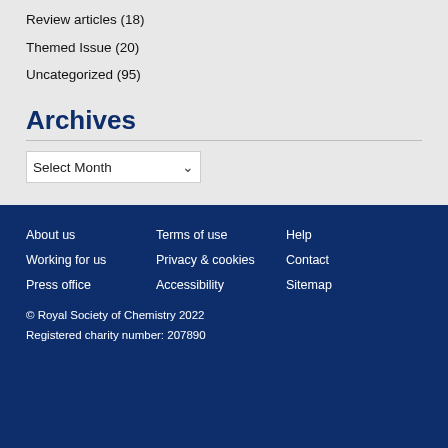Review articles (18)
Themed Issue (20)
Uncategorized (95)
Archives
Select Month
Meta
Log in
RSC Blogs
About us   Terms of use   Help
Working for us   Privacy & cookies   Contact
Press office   Accessibility   Sitemap
© Royal Society of Chemistry 2022
Registered charity number: 207890